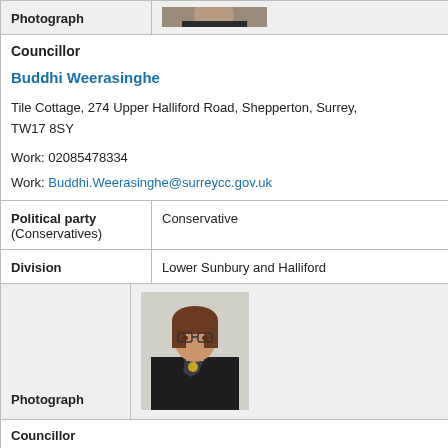| Photograph | [photo of councillor] |
| Councillor | Buddhi Weerasinghe
Tile Cottage, 274 Upper Halliford Road, Shepperton, Surrey, TW17 8SY
Work: 02085478334
Work: Buddhi.Weerasinghe@surreycc.gov.uk |
| Political party (Conservatives) | Conservative |
| Division | Lower Sunbury and Halliford |
| Photograph | [photo of councillor] |
| Councillor |  |